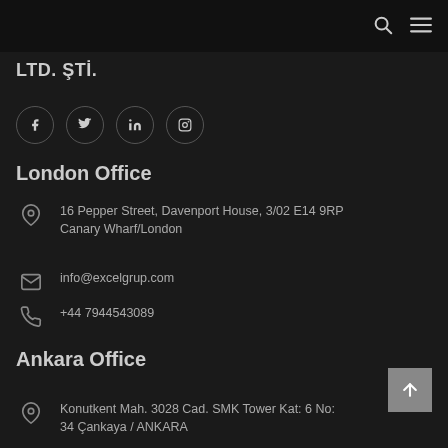LTD. ŞTİ.
[Figure (other): Social media icons: Facebook, Twitter, LinkedIn, Instagram — white icons inside dark circular borders]
London Office
16 Pepper Street, Davenport House, 3/02 E14 9RP Canary Wharf/London
info@excelgrup.com
+44 7944543089
Ankara Office
Konutkent Mah. 3028 Cad. SMK Tower Kat: 6 No: 34 Çankaya / ANKARA